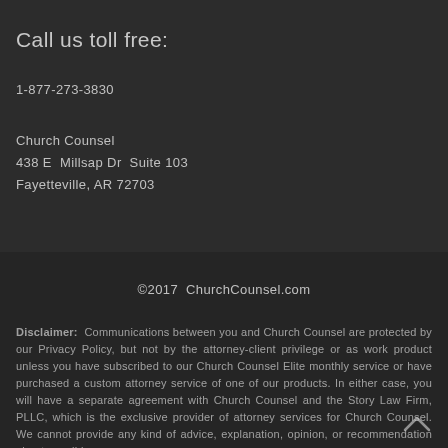Call us toll free:
1-877-273-3830
Church Counsel
438 E  Millsap Dr  Suite 103
Fayetteville, AR 72703
©2017  ChurchCounsel.com
Disclaimer:  Communications between you and Church Counsel are protected by our Privacy Policy, but not by the attorney-client privilege or as work product unless you have subscribed to our Church Counsel Elite monthly service or have purchased a custom attorney service of one of our products. In either case, you will have a separate agreement with Church Counsel and the Story Law Firm, PLLC, which is the exclusive provider of attorney services for Church Counsel. We cannot provide any kind of advice, explanation, opinion, or recommendation about possible